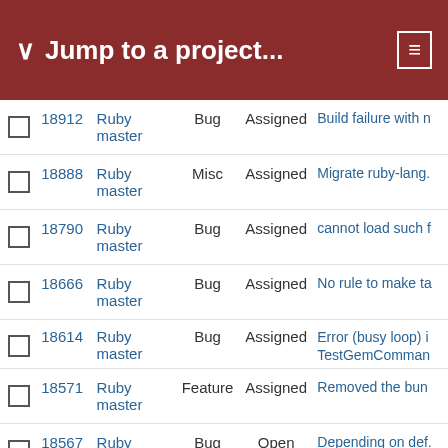Jump to a project...
|  | # | Project | Type | Status | Description |
| --- | --- | --- | --- | --- | --- |
|  | 18912 | Ruby master | Bug | Assigned | Build failure with n |
|  | 18888 | Ruby master | Misc | Assigned | Migrate ruby-lang. |
|  | 18790 | Ruby master | Bug | Assigned | cannot load such f |
|  | 18666 | Ruby master | Bug | Assigned | No rule to make ta |
|  | 18614 | Ruby master | Bug | Assigned | Error (busy loop) i TestGemComman |
|  | 18571 | Ruby master | Feature | Assigned | Removed the bun |
|  | 18567 | Ruby master | Bug | Open | Depending on def. |
|  | 18381 | Ruby master | Bug | Assigned | Default vs Bundle |
|  | 18355 | Ruby master | Bug | Assigned | require("pathname (), when there are |
|  | 18169 | Ruby master | Bug | Assigned | Local copies of ge |
|  | 18068 | Ruby master | Misc | Open | Silence LoadError |